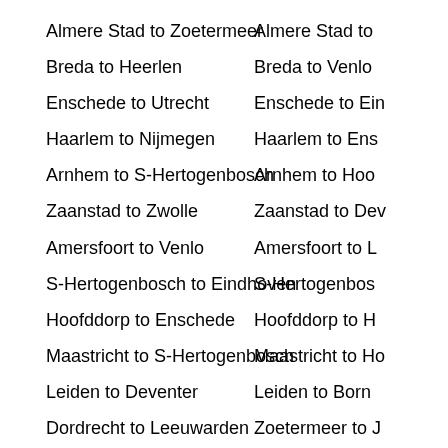Almere Stad to Zoetermeer
Breda to Heerlen
Enschede to Utrecht
Haarlem to Nijmegen
Arnhem to S-Hertogenbosch
Zaanstad to Zwolle
Amersfoort to Venlo
S-Hertogenbosch to Eindhoven
Hoofddorp to Enschede
Maastricht to S-Hertogenbosch
Leiden to Deventer
Dordrecht to Leeuwarden
Zwolle to Tilburg
Deventer to Haarlem
Born to Hoofddorp
Delft to Deventer
Almere Stad to [cut off]
Breda to Venlo
Enschede to Ein[cut off]
Haarlem to Ens[cut off]
Arnhem to Hoo[cut off]
Zaanstad to Dev[cut off]
Amersfoort to L[cut off]
S-Hertogenbos[cut off]
Hoofddorp to H[cut off]
Maastricht to Ho[cut off]
Leiden to Born
Zoetermeer to J[cut off]
Zwolle to Gron[cut off]
Deventer to Arn[cut off]
Born to Maastric[cut off]
Delft to Born